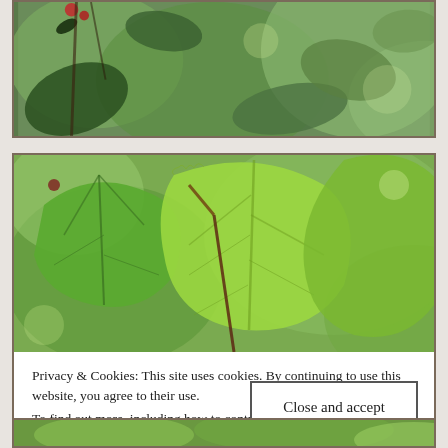[Figure (photo): Close-up photo of green leaves and red berries/flowers in a garden, blurred background, brown border frame. Top portion partially cropped.]
[Figure (photo): Close-up photo of bright green grape vine leaves with serrated edges against a blurred green background, brown border frame.]
Privacy & Cookies: This site uses cookies. By continuing to use this website, you agree to their use.
To find out more, including how to control cookies, see here:
Cookie Policy
Close and accept
[Figure (photo): Partial view of a third photo card at the bottom showing green foliage, brown border frame.]